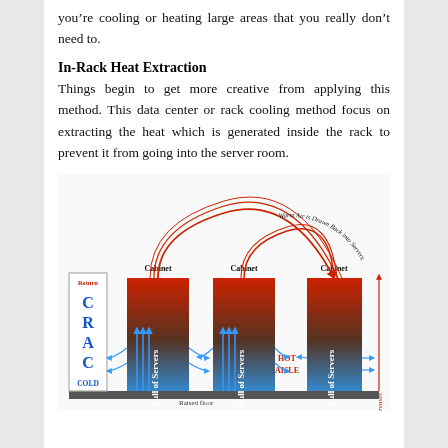you're cooling or heating large areas that you really don't need to.
In-Rack Heat Extraction
Things begin to get more creative from applying this method. This data center or rack cooling method focus on extracting the heat which is generated inside the rack to prevent it from going into the server room.
[Figure (engineering-diagram): Hot aisle / cold aisle data center cooling diagram showing CRAC unit on left (labeled Return, C R A C, COLD), three server cabinets labeled 'Cabinet Full of Servers', blue cool air flowing from raised floor up through cabinets, red warm air recirculating over tops of cabinets back to CRAC. HOT AISLE labeled between cabinets. 'Warm Air is Drawn Back into Servers' arc text. 'Temperature Increases' label on right side. 'Raised floor' label at bottom.]